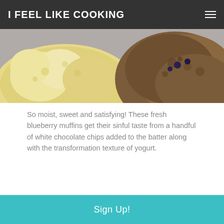I FEEL LIKE COOKING
[Figure (photo): Close-up photo of muffins — a pale yellow muffin on the left and a darker baked muffin on the right, on a grey surface]
So moist, sweet and satisfying! These fresh blueberry muffins get their sinful taste from a handful of white chocolate chips added to the batter along with the transformation texture of yogurt.
[Figure (photo): Close-up photo of fresh blueberries on the left and powdered-sugar-dusted muffins on the right, on a light surface]